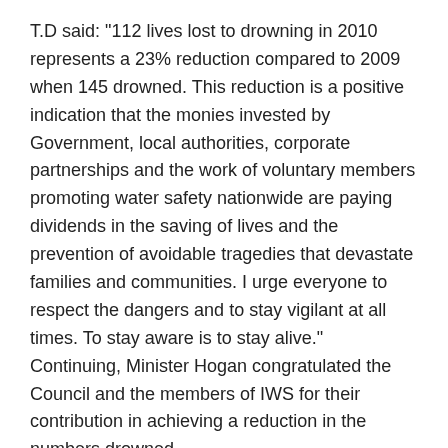T.D said: "112 lives lost to drowning in 2010 represents a 23% reduction compared to 2009 when 145 drowned. This reduction is a positive indication that the monies invested by Government, local authorities, corporate partnerships and the work of voluntary members promoting water safety nationwide are paying dividends in the saving of lives and the prevention of avoidable tragedies that devastate families and communities. I urge everyone to respect the dangers and to stay vigilant at all times. To stay aware is to stay alive." Continuing, Minister Hogan congratulated the Council and the members of IWS for their contribution in achieving a reduction in the numbers drowned.
Commenting on the decrease, the Chairman of IWS, Frank Nolan said: "We have ended a decade in which we can report that drownings in Ireland in 2010 were at their lowest for 58 years, reason enough to be confident that the work of Irish Water Safety and our partners in the public and private sector is having the desired outcome - more people enjoying our